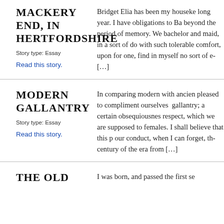MACKERY END, IN HERTFORDSHIRE
Story type: Essay
Read this story.
Bridget Elia has been my houseke… long year. I have obligations to Ba… beyond the period of memory. We… bachelor and maid, in a sort of do… with such tolerable comfort, upon… for one, find in myself no sort of … […]
MODERN GALLANTRY
Story type: Essay
Read this story.
In comparing modern with ancien… pleased to compliment ourselves … gallantry; a certain obsequiousnes… respect, which we are supposed to… females. I shall believe that this p… our conduct, when I can forget, th… century of the era from […]
THE OLD